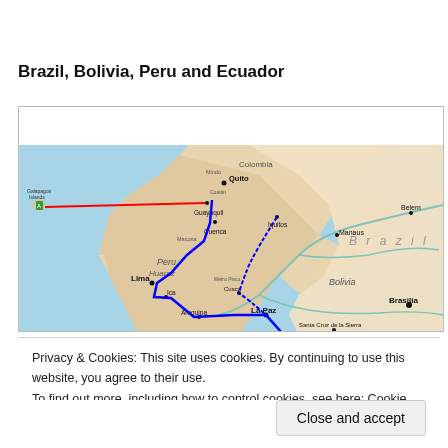Brazil, Bolivia, Peru and Ecuador
[Figure (map): Map of South America showing Brazil, Bolivia, Peru and Ecuador with travel route marked in blue and red lines. Key cities labeled: Quito, Guayaquil, Cuenca, Iquitos, Lima, Ica, Arequipa, La Paz, Sucre, Santa Cruz de la Sierra, Manaus, Belem, Brasilia, Belo Horizonte. Galapagos Islands shown to the west.]
Privacy & Cookies: This site uses cookies. By continuing to use this website, you agree to their use.
To find out more, including how to control cookies, see here: Cookie Policy
Close and accept